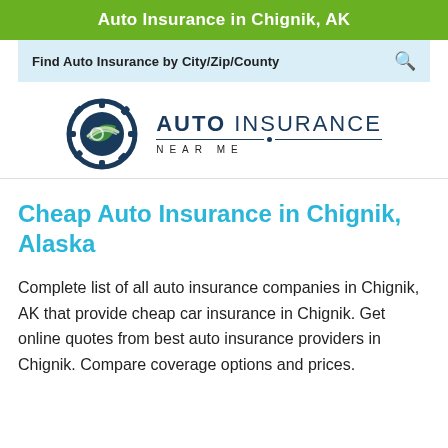Auto Insurance in Chignik, AK
Find Auto Insurance by City/Zip/County
[Figure (logo): Auto Insurance Near Me logo with gear and leaf icon]
Cheap Auto Insurance in Chignik, Alaska
Complete list of all auto insurance companies in Chignik, AK that provide cheap car insurance in Chignik. Get online quotes from best auto insurance providers in Chignik. Compare coverage options and prices.